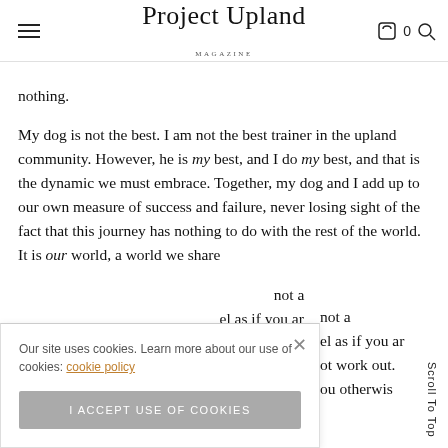Project Upland Magazine
nothing.
My dog is not the best. I am not the best trainer in the upland community. However, he is my best, and I do my best, and that is the dynamic we must embrace. Together, my dog and I add up to our own measure of success and failure, never losing sight of the fact that this journey has nothing to do with the rest of the world. It is our world, a world we share [partially obscured] not a [partially obscured] el as if you ar[e] [partially obscured] ot work out. [partially obscured] ou otherwis[e]
Our site uses cookies. Learn more about our use of cookies: cookie policy
I ACCEPT USE OF COOKIES